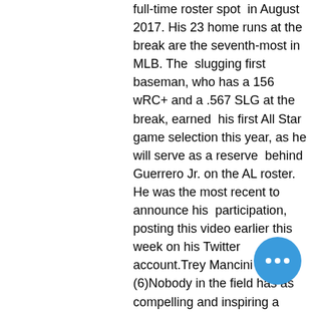full-time roster spot in August 2017. His 23 home runs at the break are the seventh-most in MLB. The slugging first baseman, who has a 156 wRC+ and a .567 SLG at the break, earned his first All Star game selection this year, as he will serve as a reserve behind Guerrero Jr. on the AL roster. He was the most recent to announce his participation, posting this video earlier this week on his Twitter account.Trey Mancini (6)Nobody in the field has as compelling and inspiring a story as Mancini, who missed the entire 2020 season as he battled stage three colon cancer. He has returned since announcing he was cancer-free last November and has subsequently had a terrific first year. While he fell short of making his first ever All Star game, his inclusion in the derby is a wonderful story, and he will no doubt have many in his corner rooting for him. The first baseman hit 16 home runs so far this season.The 2021 T-Mobile Home Run Derby is